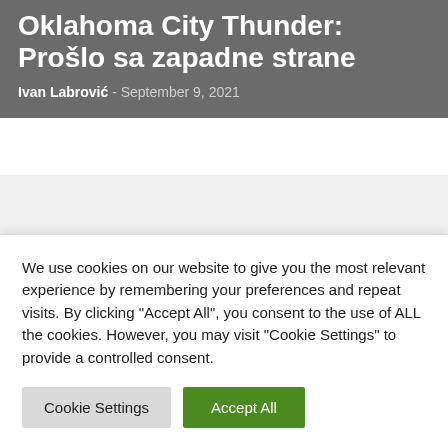Oklahoma City Thunder: Prošlo sa zapadne strane
Ivan Labrović - September 9, 2021
We use cookies on our website to give you the most relevant experience by remembering your preferences and repeat visits. By clicking "Accept All", you consent to the use of ALL the cookies. However, you may visit "Cookie Settings" to provide a controlled consent.